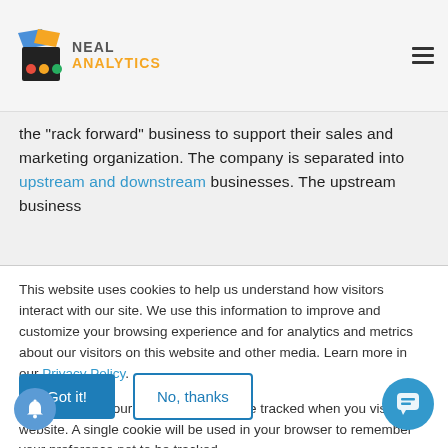Neal Analytics
the "rack forward" business to support their sales and marketing organization. The company is separated into upstream and downstream businesses. The upstream business
This website uses cookies to help us understand how visitors interact with our site. We use this information to improve and customize your browsing experience and for analytics and metrics about our visitors on this website and other media. Learn more in our Privacy Policy.
If you decline, your information won't be tracked when you visit this website. A single cookie will be used in your browser to remember your preference not to be tracked.